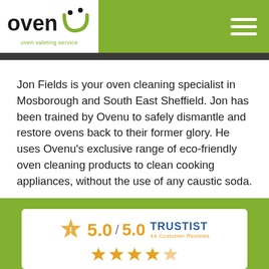[Figure (logo): Ovenu logo with green checkmark/smiley shape and text 'oven valeting service' in green]
Jon Fields is your oven cleaning specialist in Mosborough and South East Sheffield. Jon has been trained by Ovenu to safely dismantle and restore ovens back to their former glory. He uses Ovenu's exclusive range of eco-friendly oven cleaning products to clean cooking appliances, without the use of any caustic soda.
[Figure (logo): Trustist logo with rating 5.0 / 5.0 and 44 Customer Reviews, with star icons]